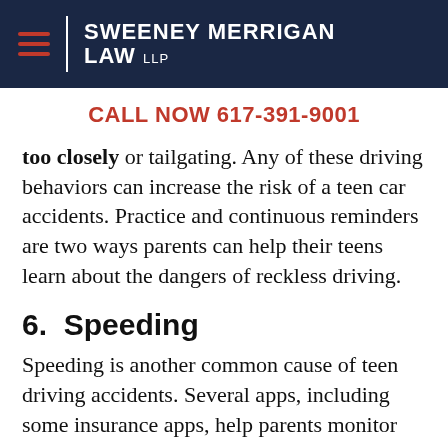Sweeney Merrigan Law LLP
CALL NOW 617-391-9001
too closely or tailgating. Any of these driving behaviors can increase the risk of a teen car accidents. Practice and continuous reminders are two ways parents can help their teens learn about the dangers of reckless driving.
6. Speeding
Speeding is another common cause of teen driving accidents. Several apps, including some insurance apps, help parents monitor the speed at which their